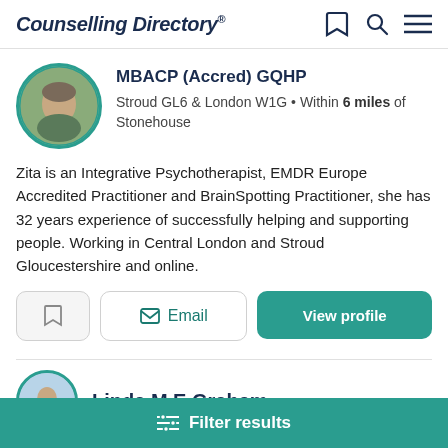Counselling Directory
MBACP (Accred) GQHP
Stroud GL6 & London W1G • Within 6 miles of Stonehouse
Zita is an Integrative Psychotherapist, EMDR Europe Accredited Practitioner and BrainSpotting Practitioner, she has 32 years experience of successfully helping and supporting people. Working in Central London and Stroud Gloucestershire and online.
Email
View profile
Linda M E Graham
Filter results